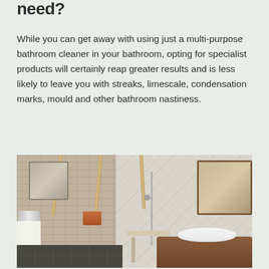need?
While you can get away with using just a multi-purpose bathroom cleaner in your bathroom, opting for specialist products will certainly reap greater results and is less likely to leave you with streaks, limescale, condensation marks, mould and other bathroom nastiness.
[Figure (photo): Interior photograph of a rustic bathroom featuring exposed wooden ceiling beams, grey brick wall tiles on the left, diamond-pattern tiles in the shower area, a wooden vanity unit with a white basin sink, a towel rail with white towels, a copper flower pot on a stand, a white stool, and a wooden framed mirror on the right.]